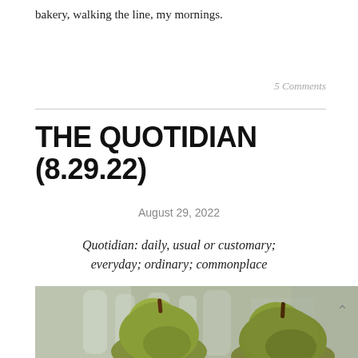bakery, walking the line, my mornings.
5 Comments
THE QUOTIDIAN (8.29.22)
August 29, 2022
Quotidian: daily, usual or customary; everyday; ordinary; commonplace
[Figure (photo): Two green pears in the foreground with glass bottles blurred in the background, photographed on a light surface.]